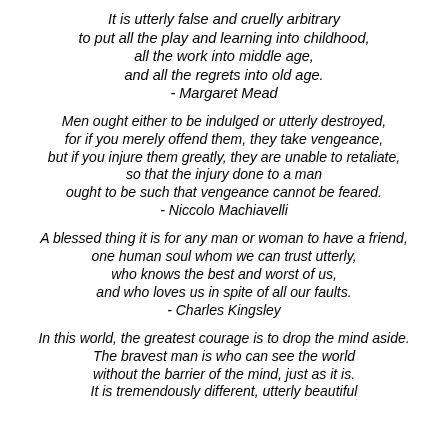It is utterly false and cruelly arbitrary to put all the play and learning into childhood, all the work into middle age, and all the regrets into old age. - Margaret Mead
Men ought either to be indulged or utterly destroyed, for if you merely offend them, they take vengeance, but if you injure them greatly, they are unable to retaliate, so that the injury done to a man ought to be such that vengeance cannot be feared. - Niccolo Machiavelli
A blessed thing it is for any man or woman to have a friend, one human soul whom we can trust utterly, who knows the best and worst of us, and who loves us in spite of all our faults. - Charles Kingsley
In this world, the greatest courage is to drop the mind aside. The bravest man is who can see the world without the barrier of the mind, just as it is. It is tremendously different, utterly beautiful